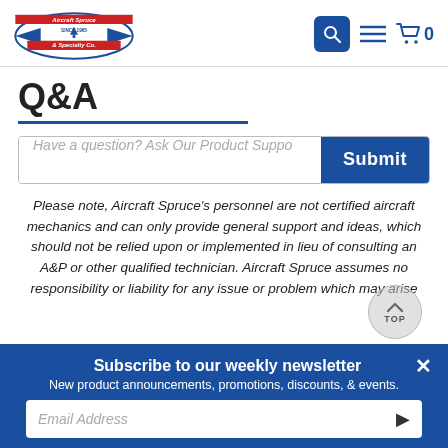Aircraft Spruce & Specialty Co. — navigation header with search, menu, and cart icons
Q&A
Have a question? Ask Our Product Suppo [Submit]
Please note, Aircraft Spruce's personnel are not certified aircraft mechanics and can only provide general support and ideas, which should not be relied upon or implemented in lieu of consulting an A&P or other qualified technician. Aircraft Spruce assumes no responsibility or liability for any issue or problem which may arise
Subscribe to our weekly newsletter
New product announcements, promotions, discounts, & events.
Email Address [submit]